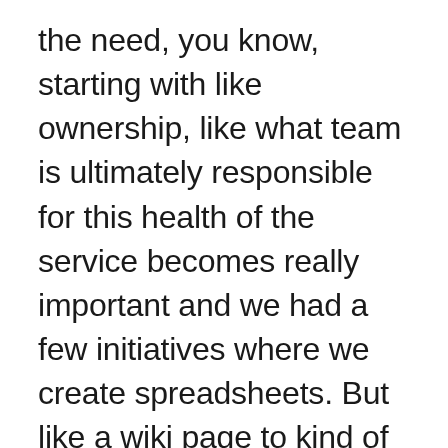the need, you know, starting with like ownership, like what team is ultimately responsible for this health of the service becomes really important and we had a few initiatives where we create spreadsheets. But like a wiki page to kind of like track that. But then you know, two weeks later would be out of date, right, because it didn't exist in code. And it didn't exist in a